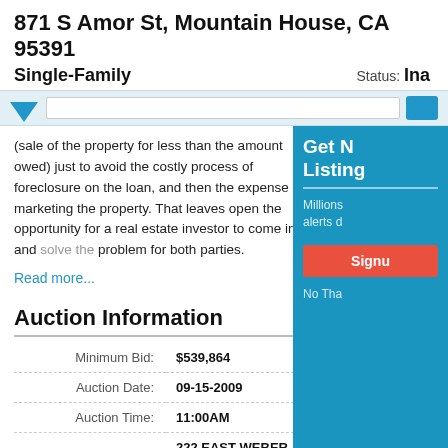871 S Amor St, Mountain House, CA 95391
Single-Family
Status: Ina
(sale of the property for less than the amount owed) just to avoid the costly process of foreclosure on the loan, and then the expense of marketing the property. That leaves open the opportunity for a real estate investor to come in and solve the problem for both parties.
Read more...
Auction Information
| Field | Value |
| --- | --- |
| Minimum Bid: | $539,864 |
| Auction Date: | 09-15-2009 |
| Auction Time: | 11:00AM |
| Auction Address: | 222 EAST WEBER STREET |
| Auction City: | STOCKTON |
Get N Listing...
Millions alerts d...
Signup
No Than...